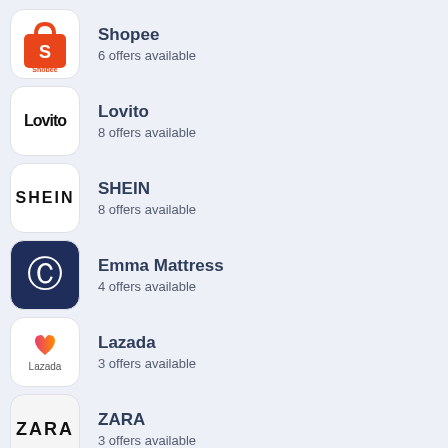Shopee — 6 offers available
Lovito — 8 offers available
SHEIN — 8 offers available
Emma Mattress — 4 offers available
Lazada — 3 offers available
ZARA — 3 offers available